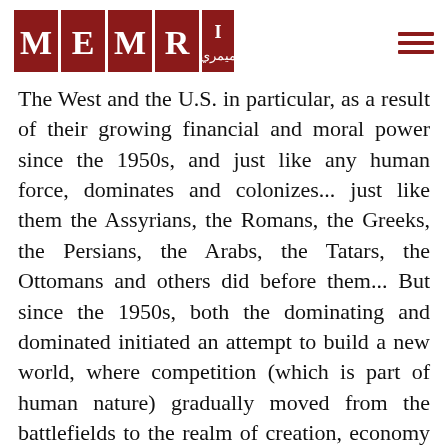MEMRI logo and navigation
The West and the U.S. in particular, as a result of their growing financial and moral power since the 1950s, and just like any human force, dominates and colonizes... just like them the Assyrians, the Romans, the Greeks, the Persians, the Arabs, the Tatars, the Ottomans and others did before them... But since the 1950s, both the dominating and dominated initiated an attempt to build a new world, where competition (which is part of human nature) gradually moved from the battlefields to the realm of creation, economy and trade. Sciences and inventions developed as never before, especially in the fields of space, communications and medicine, which led to the invention of computers, the Internet and satellites, and many medicines and antibiotics